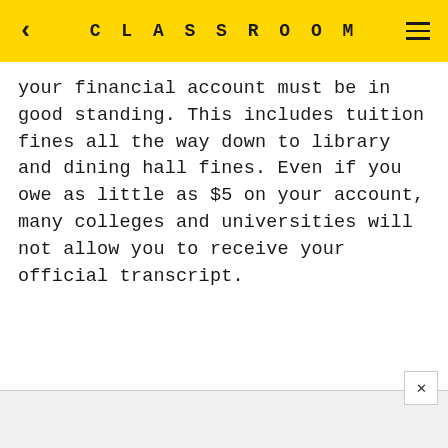CLASSROOM
your financial account must be in good standing. This includes tuition fines all the way down to library and dining hall fines. Even if you owe as little as $5 on your account, many colleges and universities will not allow you to receive your official transcript.